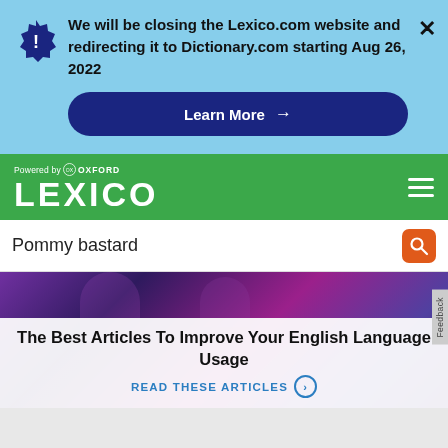We will be closing the Lexico.com website and redirecting it to Dictionary.com starting Aug 26, 2022
[Figure (screenshot): Learn More button with arrow on dark blue rounded rectangle]
[Figure (logo): Lexico logo powered by Oxford on green background with hamburger menu]
Pommy bastard
The Best Articles To Improve Your English Language Usage
READ THESE ARTICLES